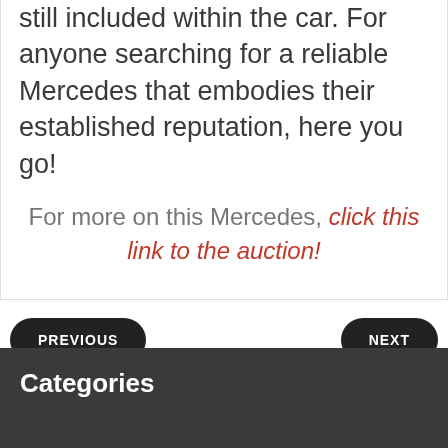literature, tool kit, and spare tire are all still included within the car. For anyone searching for a reliable Mercedes that embodies their established reputation, here you go!
For more on this Mercedes, click this link to the auction!
PREVIOUS
NEXT
Categories